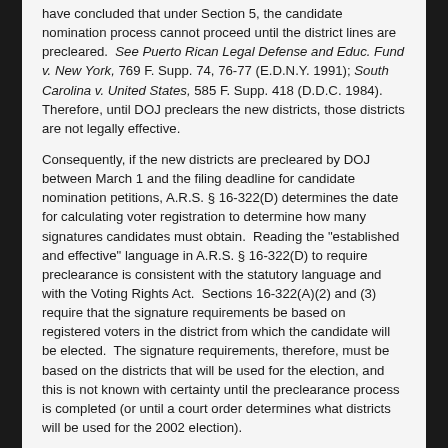have concluded that under Section 5, the candidate nomination process cannot proceed until the district lines are precleared.  See Puerto Rican Legal Defense and Educ. Fund v. New York, 769 F. Supp. 74, 76-77 (E.D.N.Y. 1991); South Carolina v. United States, 585 F. Supp. 418 (D.D.C. 1984).  Therefore, until DOJ preclears the new districts, those districts are not legally effective.
Consequently, if the new districts are precleared by DOJ between March 1 and the filing deadline for candidate nomination petitions, A.R.S. § 16-322(D) determines the date for calculating voter registration to determine how many signatures candidates must obtain.  Reading the "established and effective" language in A.R.S. § 16-322(D) to require preclearance is consistent with the statutory language and with the Voting Rights Act.  Sections 16-322(A)(2) and (3) require that the signature requirements be based on registered voters in the district from which the candidate will be elected.  The signature requirements, therefore, must be based on the districts that will be used for the election, and this is not known with certainty until the preclearance process is completed (or until a court order determines what districts will be used for the 2002 election).